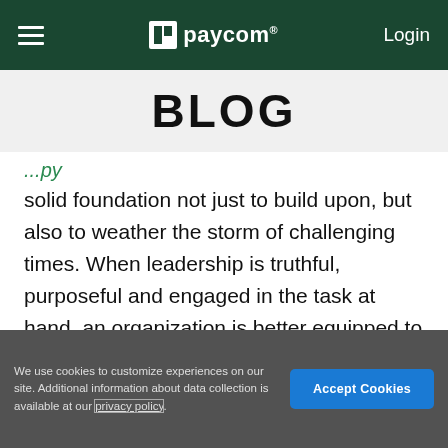≡  paycom®  Login
BLOG
solid foundation not just to build upon, but also to weather the storm of challenging times. When leadership is truthful, purposeful and engaged in the task at hand, an organization is better equipped to emerge stronger than ever from moments of adversity.
EPISODE 86
We use cookies to customize experiences on our site. Additional information about data collection is available at our privacy policy.